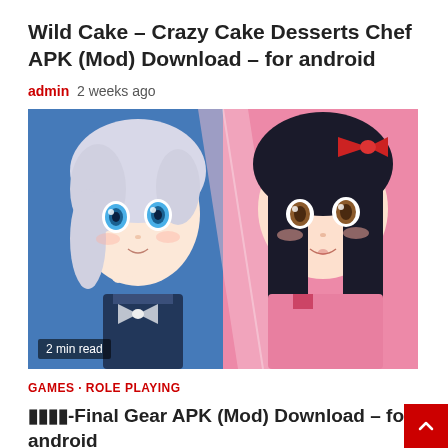Wild Cake – Crazy Cake Desserts Chef APK (Mod) Download – for android
admin  2 weeks ago
[Figure (illustration): Anime-style illustration showing two characters: a silver-haired girl with blue eyes on a blue background (left) and a black-haired girl with brown eyes on a pink background (right), split diagonally. Badge reads '2 min read'.]
GAMES · ROLE PLAYING
🔴🔴🔴🔴-Final Gear APK (Mod) Download – for android